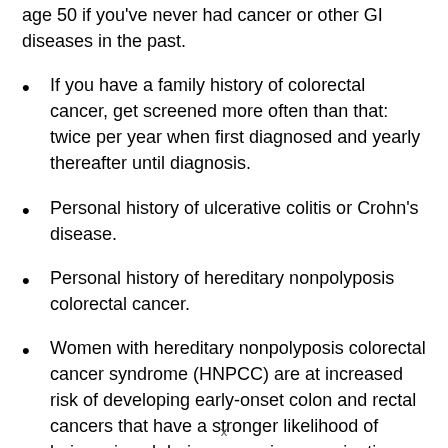…detect cancer or polyps every five years starting at age 50 if you've never had cancer or other GI diseases in the past.
If you have a family history of colorectal cancer, get screened more often than that: twice per year when first diagnosed and yearly thereafter until diagnosis.
Personal history of ulcerative colitis or Crohn's disease.
Personal history of hereditary nonpolyposis colorectal cancer.
Women with hereditary nonpolyposis colorectal cancer syndrome (HNPCC) are at increased risk of developing early-onset colon and rectal cancers that have a stronger likelihood of being missed during screening examinations such as flexible…